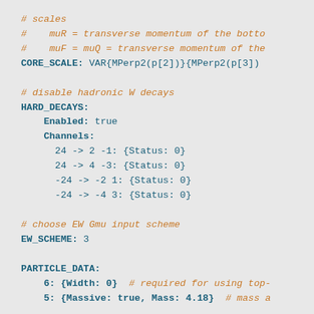# scales
#    muR = transverse momentum of the botto
#    muF = muQ = transverse momentum of the
CORE_SCALE: VAR{MPerp2(p[2])}{MPerp2(p[3])

# disable hadronic W decays
HARD_DECAYS:
  Enabled: true
  Channels:
    24 -> 2 -1: {Status: 0}
    24 -> 4 -3: {Status: 0}
    -24 -> -2 1: {Status: 0}
    -24 -> -4 3: {Status: 0}

# choose EW Gmu input scheme
EW_SCHEME: 3

PARTICLE_DATA:
  6: {Width: 0}  # required for using top-
  5: {Massive: true, Mass: 4.18}  # mass a

# configure for N_f = 4